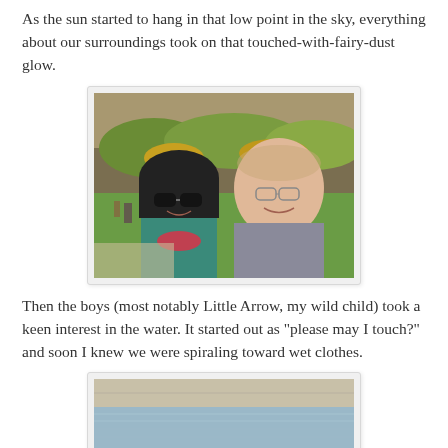As the sun started to hang in that low point in the sky, everything about our surroundings took on that touched-with-fairy-dust glow.
[Figure (photo): A couple taking a selfie outdoors with a rocky hillside covered in green and yellow vegetation in the background. The woman on the left wears sunglasses and a teal vest; the man on the right wears glasses and a grey sweater. People and a park are visible in the background.]
Then the boys (most notably Little Arrow, my wild child) took a keen interest in the water. It started out as "please may I touch?" and soon I knew we were spiraling toward wet clothes.
[Figure (photo): A partial view of what appears to be a water feature or fountain with stone edging, water visible in the lower portion of the image.]